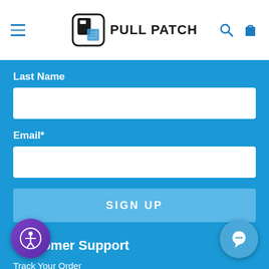[Figure (logo): Pull Patch logo with hamburger menu icon on left and search/cart icons on right in white header navigation bar]
Last Name
Email*
SIGN UP
Customer Support
Track Your Order
Returns & Exchanges
ch FAQs
Pull Patch